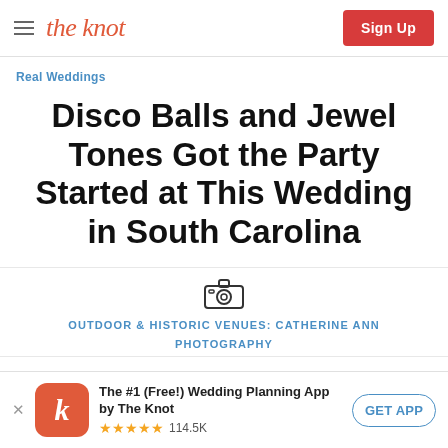the knot | Sign Up
Real Weddings
Disco Balls and Jewel Tones Got the Party Started at This Wedding in South Carolina
OUTDOOR & HISTORIC VENUES: CATHERINE ANN PHOTOGRAPHY
The #1 (Free!) Wedding Planning App by The Knot ★★★★★ 114.5K GET APP